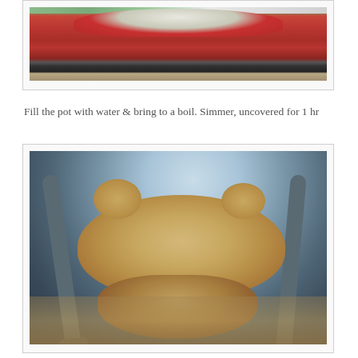[Figure (photo): Red Dutch oven pot on a stove, seen from the side, with steam or food visible at the top.]
Fill the pot with water & bring to a boil. Simmer, uncovered for 1 hr
[Figure (photo): A whole cooked chicken being lifted with gray tongs from a large pot of broth, showing the chicken glistening and golden-brown.]